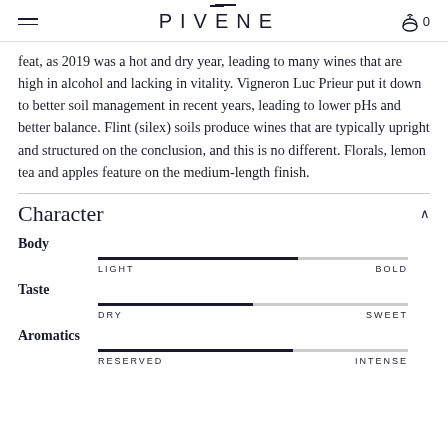PIVĒNE
feat, as 2019 was a hot and dry year, leading to many wines that are high in alcohol and lacking in vitality. Vigneron Luc Prieur put it down to better soil management in recent years, leading to lower pHs and better balance. Flint (silex) soils produce wines that are typically upright and structured on the conclusion, and this is no different. Florals, lemon tea and apples feature on the medium-length finish.
Character
Body — LIGHT to BOLD slider, approximately 65% filled
Taste — DRY to SWEET slider, approximately 50% filled
Aromatics — RESERVED to INTENSE slider, approximately 62% filled